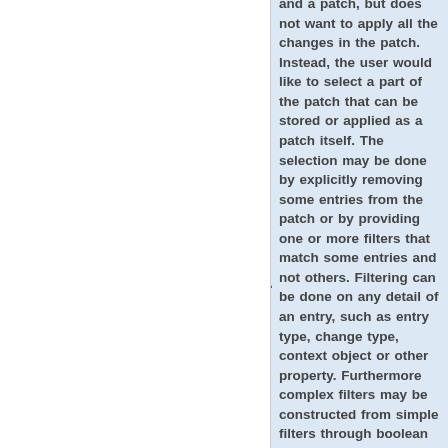and a patch, but does not want to apply all the changes in the patch. Instead, the user would like to select a part of the patch that can be stored or applied as a patch itself. The selection may be done by explicitly removing some entries from the patch or by providing one or more filters that match some entries and not others. Filtering can be done on any detail of an entry, such as entry type, change type, context object or other property. Furthermore complex filters may be constructed from simple filters through boolean operations for less on the